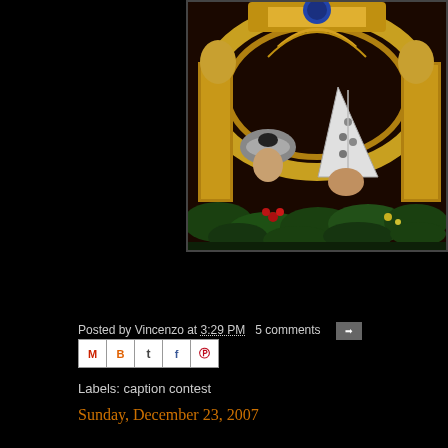[Figure (photo): Photo of two figures wearing ceremonial headgear (one a papal mitre) partially visible behind an elaborate golden altar decoration with green foliage/flowers in the foreground. Rich golden baroque architectural background.]
Posted by Vincenzo at 3:29 PM   5 comments
[Figure (other): Social sharing icons row: Gmail (M), Blogger (B), Twitter (t), Facebook (f), Pinterest (P)]
Labels: caption contest
Sunday, December 23, 2007